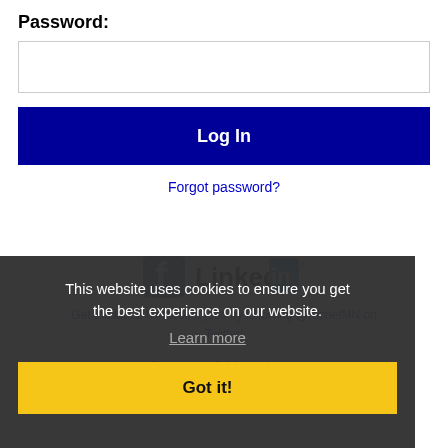Password:
[Figure (screenshot): Password input field (empty text box)]
Log In
Forgot password?
[Figure (logo): Facebook logo and LinkedIn logo side by side]
Get the latest Minnesota jobs by following @recnetMN on Twitter!
Rochester RSS job feeds
This website uses cookies to ensure you get the best experience on our website.
Learn more
Got it!